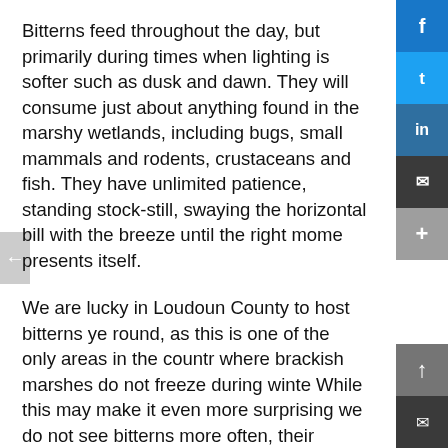Bitterns feed throughout the day, but primarily during times when lighting is softer such as dusk and dawn. They will consume just about anything found in the marshy wetlands, including bugs, small mammals and rodents, crustaceans and fish. They have unlimited patience, standing stock-still, swaying the horizontal bill with the breeze until the right mome presents itself.
We are lucky in Loudoun County to host bitterns ye round, as this is one of the only areas in the countr where brackish marshes do not freeze during winte While this may make it even more surprising we do not see bitterns more often, their stealth-like movements and ability to blend into surroundings make them almost invisible.
One of the best ways to locate a bittern is to become familiar with its unique call. With nicknames like “water-belcher,” “thunder-pumper,” and “mire drum,”